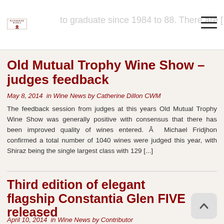Wanderer Wines
Old Mutual Trophy Wine Show – judges feedback
May 8, 2014  in  Wine News  by  Catherine Dillon CWM
The feedback session from judges at this years Old Mutual Trophy Wine Show was generally positive with consensus that there has been improved quality of wines entered. Â  Michael Fridjhon confirmed a total number of 1040 wines were judged this year, with Shiraz being the single largest class with 129 [...]
Third edition of elegant flagship Constantia Glen FIVE released
April 10, 2014  in  Wine News  by  Contributor